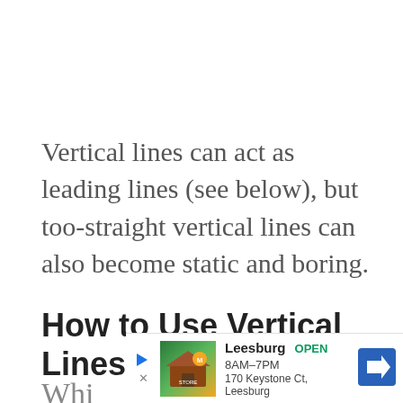Vertical lines can act as leading lines (see below), but too-straight vertical lines can also become static and boring.
How to Use Vertical Lines in Photography
Whi... hon
[Figure (other): Advertisement overlay: Leesburg store ad showing logo, OPEN 8AM-7PM, 170 Keystone Ct Leesburg, with navigation arrow icon]